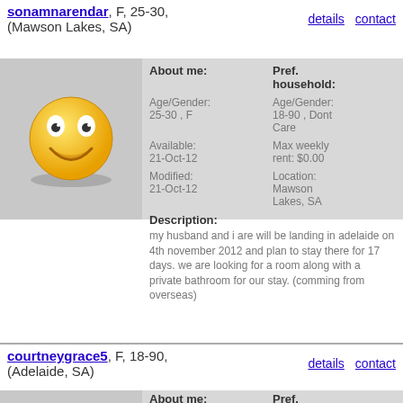sonamnarendar, F, 25-30, (Mawson Lakes, SA) | details | contact
[Figure (illustration): Yellow smiley face emoji]
About me: Age/Gender: 25-30, F | Available: 21-Oct-12 | Modified: 21-Oct-12
Pref. household: Age/Gender: 18-90, Dont Care | Max weekly rent: $0.00 | Location: Mawson Lakes, SA
Description: my husband and i are will be landing in adelaide on 4th november 2012 and plan to stay there for 17 days. we are looking for a room along with a private bathroom for our stay. (comming from overseas)
courtneygrace5, F, 18-90, (Adelaide, SA) | details | contact
About me: Age/Gender: 18-90, F | Pref. household: Age/Gender: 18-90, Dont Care